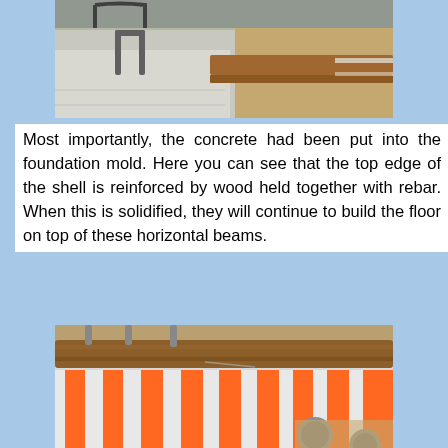[Figure (photo): Construction site photo showing concrete in a foundation mold with rebar reinforcement and wooden formwork framing, viewed from above.]
Most importantly, the concrete had been put into the foundation mold. Here you can see that the top edge of the shell is reinforced by wood held together with rebar. When this is solidified, they will continue to build the floor on top of these horizontal beams.
[Figure (photo): Close-up photo of a construction barrier with white and orange vertical stripes (safety fence/formwork), with a wooden beam on top and grey rebar/pipes visible, set against a sandy ground.]